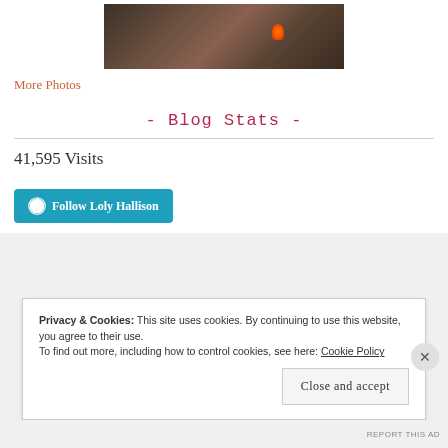[Figure (photo): Photo of a dark industrial or interior scene with furniture and a fire/flame element visible]
More Photos
- Blog Stats -
41,595 Visits
[Figure (other): Follow Loly Hallison button with WordPress logo]
Privacy & Cookies: This site uses cookies. By continuing to use this website, you agree to their use.
To find out more, including how to control cookies, see here: Cookie Policy
Close and accept